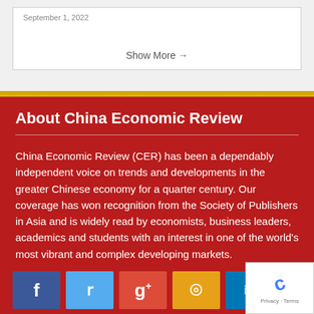September 1, 2022
Show More →
About China Economic Review
China Economic Review (CER) has been a dependably independent voice on trends and developments in the greater Chinese economy for a quarter century. Our coverage has won recognition from the Society of Publishers in Asia and is widely read by economists, business leaders, academics and students with an interest in one of the world's most vibrant and complex developing markets.